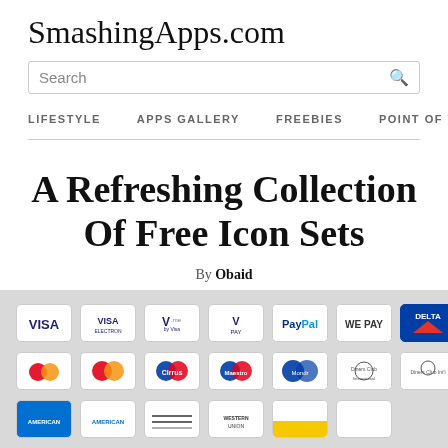SmashingApps.com
Search
LIFESTYLE  APPS GALLERY  FREEBIES  POINT OF V >
A Refreshing Collection Of Free Icon Sets
By Obaid
[Figure (photo): Grid of payment method icons including VISA, VISA Electron, V.me by Visa, V PAY, PayPal, WePay, Delta, MasterCard variants, Cirrus, Maestro, Mondor, Diners Club, and American Express cards on a light grey background.]